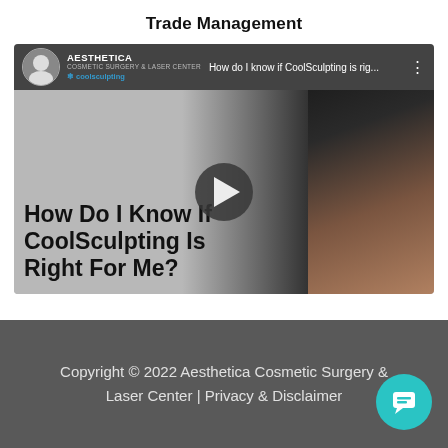Trade Management
[Figure (screenshot): YouTube video thumbnail/player showing 'How Do I Know If CoolSculpting Is Right For Me?' from Aesthetica Cosmetic Surgery & Laser Center, with play button overlay.]
Copyright © 2022 Aesthetica Cosmetic Surgery & Laser Center | Privacy & Disclaimer